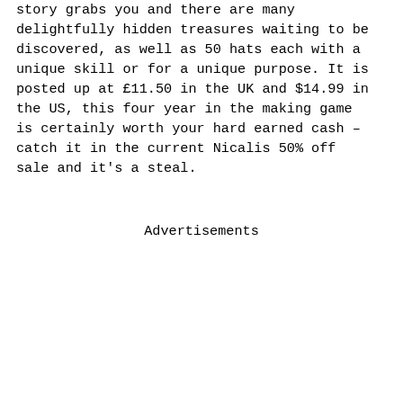story grabs you and there are many delightfully hidden treasures waiting to be discovered, as well as 50 hats each with a unique skill or for a unique purpose. It is posted up at £11.50 in the UK and $14.99 in the US, this four year in the making game is certainly worth your hard earned cash – catch it in the current Nicalis 50% off sale and it's a steal.
Advertisements